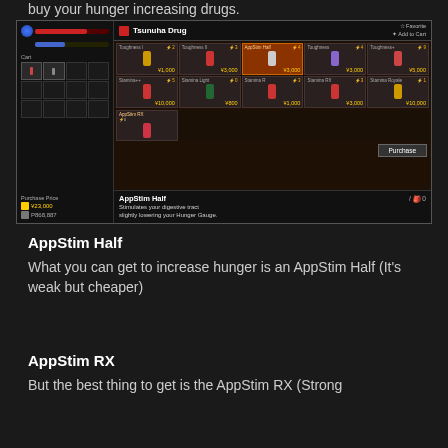buy your hunger increasing drugs.
[Figure (screenshot): Screenshot of Tsunuha Drug shop in a video game, showing various AppStim and Stamina items with prices in yen. AppStim Half is selected (¥3,000). Items include Toughness I (¥1,000), Toughness II (¥3,000), AppStim Half (¥3,000), Toughness (¥3,000), Toughness+ (¥5,000), Stamina++ (¥10,000), Stamina Light (¥800), Stamina R (¥1,000), Stamina RX (¥3,000), Stamina Royale (¥10,000), AppStim RX. Bottom shows item description: 'Stimulates your digestive tract slightly lowering your Hunger Gauge.']
AppStim Half
What you can get to increase hunger is an AppStim Half (It's weak but cheaper)
AppStim RX
But the best thing to get is the AppStim RX (Strong